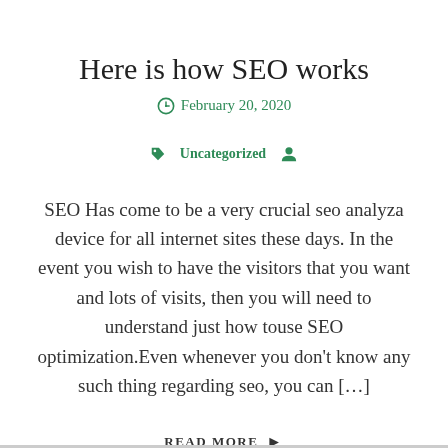Here is how SEO works
February 20, 2020
Uncategorized
SEO Has come to be a very crucial seo analyza device for all internet sites these days. In the event you wish to have the visitors that you want and lots of visits, then you will need to understand just how touse SEO optimization.Even whenever you don’t know any such thing regarding seo, you can […]
READ MORE